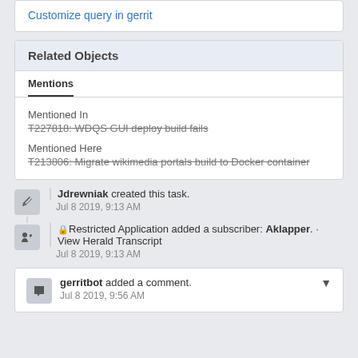Customize query in gerrit
Related Objects
Mentions
Mentioned In
T227818: WDQS GUI deploy build fails
Mentioned Here
T213806: Migrate wikimedia portals build to Docker container
Jdrewniak created this task.
Jul 8 2019, 9:13 AM
Restricted Application added a subscriber: Aklapper. · View Herald Transcript
Jul 8 2019, 9:13 AM
gerritbot added a comment.
Jul 8 2019, 9:56 AM